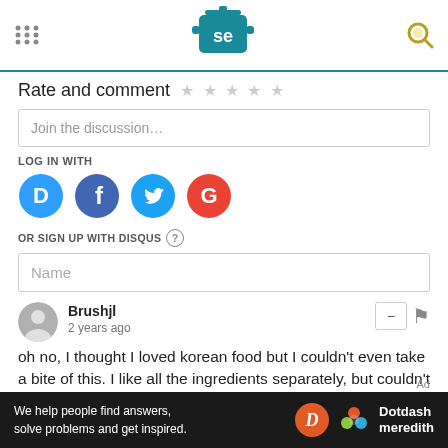[Figure (logo): Serious Eats logo: a teal cooking pot with 'se' in white text, with grid dots on left and a magnifying glass icon on right]
Rate and comment ★ ★ ★ ★ ★
Join the discussion...
LOG IN WITH
[Figure (illustration): Four social login icons: Disqus (D, blue), Facebook (f, blue), Twitter (bird, light blue), Google (G, red)]
OR SIGN UP WITH DISQUS ?
Name
Brushjl
2 years ago
oh no, I thought I loved korean food but I couldn't even take a bite of this. I like all the ingredients separately, but couldn't manage them together. choque a son goût.
[Figure (infographic): Black ad banner: 'We help people find answers, solve problems and get inspired.' with Dotdash Meredith logo]